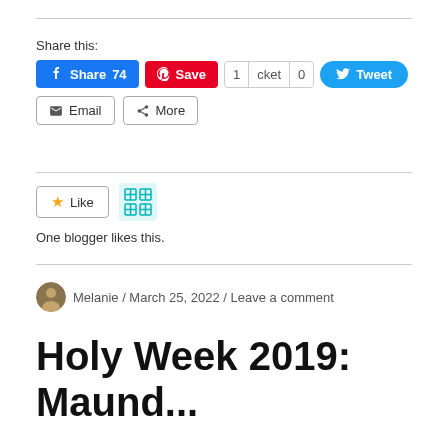Share this:
[Figure (screenshot): Social share buttons: Facebook Share 74, Pinterest Save, Pocket 1 / cket 0, Twitter Tweet, Email, More]
[Figure (screenshot): WordPress Like button and blogger avatar icon. Text: One blogger likes this.]
One blogger likes this.
Melanie / March 25, 2022 / Leave a comment
Holy Week 2019: Maundy Thursd...